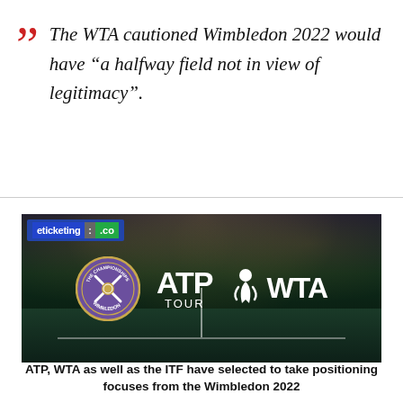The WTA cautioned Wimbledon 2022 would have “a halfway field not in view of legitimacy”.
[Figure (photo): Tennis court at night with ATP Tour and WTA logos alongside the Wimbledon Championships badge. eticketing.co watermark in top-left corner.]
ATP, WTA as well as the ITF have selected to take positioning focuses from the Wimbledon 2022